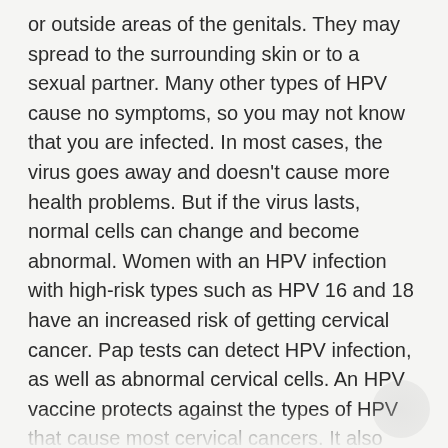or outside areas of the genitals. They may spread to the surrounding skin or to a sexual partner. Many other types of HPV cause no symptoms, so you may not know that you are infected. In most cases, the virus goes away and doesn't cause more health problems. But if the virus lasts, normal cells can change and become abnormal. Women with an HPV infection with high-risk types such as HPV 16 and 18 have an increased risk of getting cervical cancer. Pap tests can detect HPV infection, as well as abnormal cervical cells. An HPV vaccine protects against the types of HPV that cause most cervical cancers. It also protects against most genital warts in both men and women, and against anal cancer in men. Even with treatment for genital warts, the virus remains in the body and warts can reappear. Certain types of HPV can also cause warts on other body parts such as the hands. These are called common warts. They...